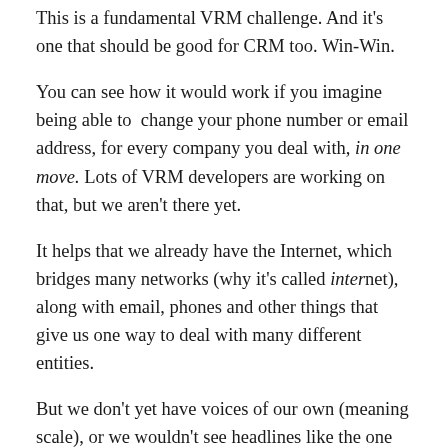This is a fundamental VRM challenge. And it's one that should be good for CRM too. Win-Win.
You can see how it would work if you imagine being able to change your phone number or email address, for every company you deal with, in one move. Lots of VRM developers are working on that, but we aren't there yet.
It helps that we already have the Internet, which bridges many networks (why it's called internet), along with email, phones and other things that give us one way to deal with many different entities.
But we don't yet have voices of our own (meaning scale), or we wouldn't see headlines like the one above.
Giving our voices scale isn't a CRM job. It's a VRM job. It also has to be done in a way that speaks directly to the